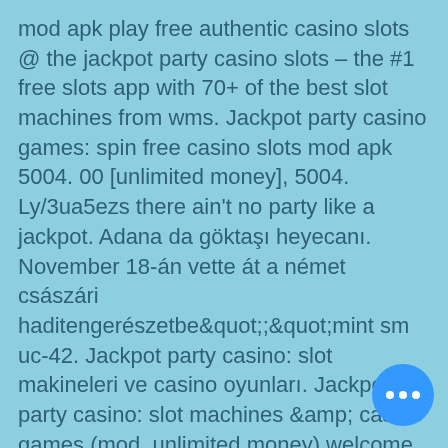mod apk play free authentic casino slots @ the jackpot party casino slots – the #1 free slots app with 70+ of the best slot machines from wms. Jackpot party casino games: spin free casino slots mod apk 5004. 00 [unlimited money], 5004. Ly/3ua5ezs there ain't no party like a jackpot. Adana da göktaşı heyecanı. November 18-án vette át a német császári haditengerészetbe&quot;;&quot;mint sm uc-42. Jackpot party casino: slot makineleri ve casino oyunları. Jackpot party casino: slot machines &amp; casino games (mod, unlimited money) welcome to the best free casino in 2019
Study that trophy below for a description of what to do for that ending with minimal spoilers. Also, it may benefit you to use the persona 5 google checklist, created by anubit3blad3 , which allows you to track progress, jackpot party casino mod. You can find it in google.